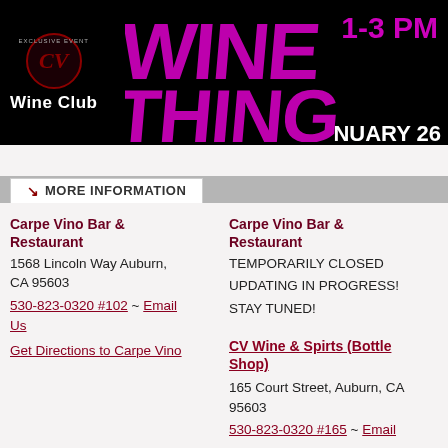[Figure (illustration): Wine Thing 2014 event banner. Black background with large pink/magenta 'WINE THING' text, '1-3 PM', 'JANUARY 26', and a CV Wine Club logo on the left with a decorative wine stopper image on the right.]
MORE INFORMATION
Carpe Vino Bar & Restaurant
1568 Lincoln Way Auburn, CA 95603
530-823-0320 #102 ~ Email Us
Get Directions to Carpe Vino
Carpe Vino Bar & Restaurant
TEMPORARILY CLOSED
UPDATING IN PROGRESS!
STAY TUNED!
CV Wine & Spirts (Bottle Shop)
165 Court Street, Auburn, CA 95603
530-823-0320 #165 ~ Email